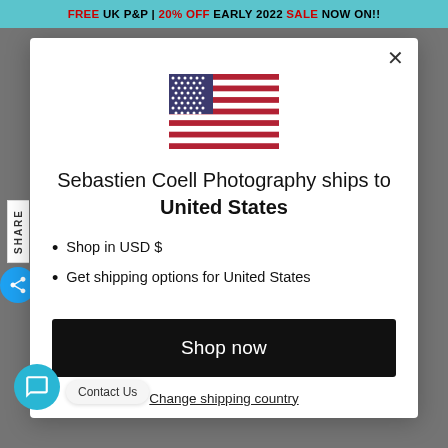FREE UK P&P | 20% OFF EARLY 2022 SALE NOW ON!!
[Figure (illustration): US flag SVG illustration inside modal dialog]
Sebastien Coell Photography ships to United States
Shop in USD $
Get shipping options for United States
Shop now
Change shipping country
SHARE
Contact Us